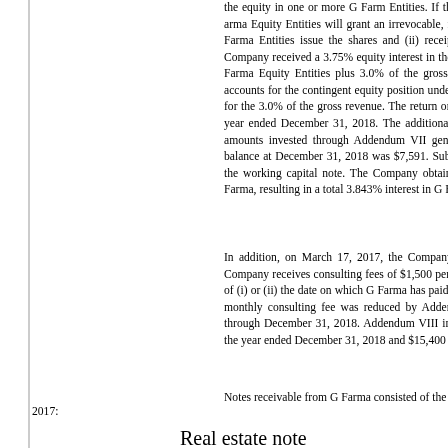the equity in one or more G Farm Entities. If the Company elects to receive any of those shares, the G Farma Equity Entities will grant an irrevocable, fully paid, perpetual, right to the Company when (i) the G Farma Entities issue the shares and (ii) receipt of two or more Company elections on payment. The Company received a 3.75% equity interest in the G Farma Equity Entities arising from operations of the G Farma Equity Entities plus 3.0% of the gross revenue from licensed Washington sales. The Company accounts for the contingent equity position under the fair value method, recording an increase in fair value for the 3.0% of the gross revenue. The return on investments in the consolidated income statement for the year ended December 31, 2018. The additional 0.75% in the equity interest arising from the additional amounts invested through Addendum VII generates additional interest over the life of the notes. The balance at December 31, 2018 was $7,591. Subsequent to December 31, 2018, Addendum VIII increased the working capital note. The Company obtained an immediate additional 0.093% equity interest in G Farma, resulting in a total 3.843% interest in G Farma.
In addition, on March 17, 2017, the Company entered into an agreement with G Farma whereby the Company receives consulting fees of $1,500 per month beginning April 15, 2017 and ending on the earlier of (i) or (ii) the date on which G Farma has paid all amounts owed under the Agreement, as amemded. This monthly consulting fee was reduced by Addendum II and Addenda IV through VII and was in effect through December 31, 2018. Addendum VIII increased the consulting fee, effective March 15, 2019. For the year ended December 31, 2018 and $15,400 of consulting fees from G Farma.
Notes receivable from G Farma consisted of the following at December 31, 2018 and 2017:
|  | $ |
| --- | --- |
| Real estate note | $ |
| Working capital note |  |
| Note receivable discount |  |